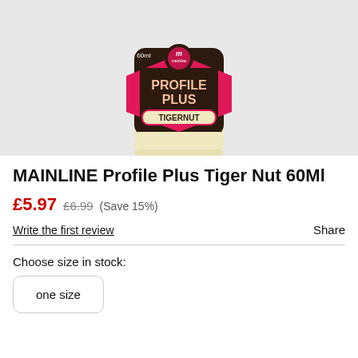[Figure (photo): Mainline Profile Plus Tigernut 60ml bottle product photo on light grey background]
MAINLINE Profile Plus Tiger Nut 60Ml
£5.97  £6.99  (Save 15%)
Write the first review
Share
Choose size in stock:
one size